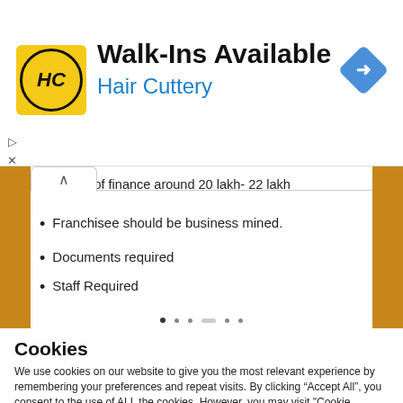[Figure (logo): Hair Cuttery advertisement banner with HC logo, Walk-Ins Available text, navigation diamond icon]
Capacity of finance around 20 lakh- 22 lakh
Franchisee should be business mined.
Documents required
Staff Required
Cookies
We use cookies on our website to give you the most relevant experience by remembering your preferences and repeat visits. By clicking “Accept All”, you consent to the use of ALL the cookies. However, you may visit “Cookie Settings” to provide a controlled consent.
Cookie Settings | Accept All